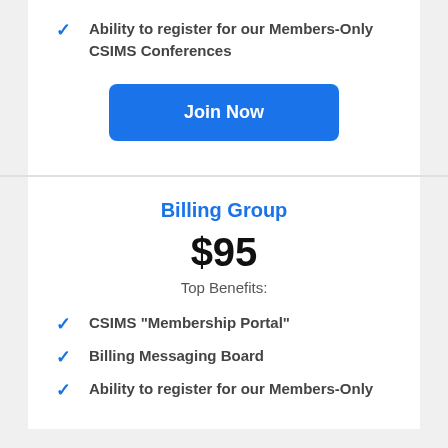Ability to register for our Members-Only CSIMS Conferences
Join Now
Billing Group
$95
Top Benefits:
CSIMS "Membership Portal"
Billing Messaging Board
Ability to register for our Members-Only